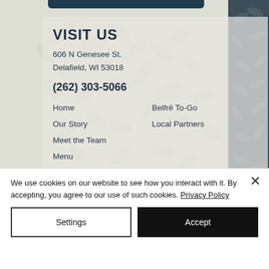VISIT US
606 N Genesee St.
Delafield, WI 53018
(262) 303-5066
Home
Belfrē To-Go
Our Story
Local Partners
Meet the Team
Menu
Press
Career Opportunities
We use cookies on our website to see how you interact with it. By accepting, you agree to our use of such cookies. Privacy Policy